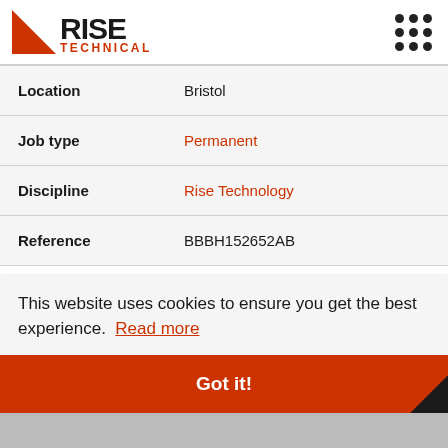[Figure (logo): Rise Technical logo with red triangle and text 'RISE TECHNICAL']
| Location | Bristol |
| Job type | Permanent |
| Discipline | Rise Technology |
| Reference | BBBH152652AB |
This website uses cookies to ensure you get the best experience. Read more
Got it!